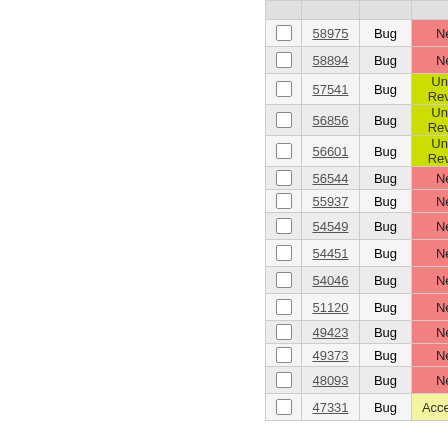|  | ID | Type | Status |
| --- | --- | --- | --- |
| ☐ | 58975 | Bug | New |
| ☐ | 58894 | Bug | New |
| ☐ | 57541 | Bug | Under Review |
| ☐ | 56856 | Bug | Under Review |
| ☐ | 56601 | Bug | Under Review |
| ☐ | 56544 | Bug | New |
| ☐ | 55937 | Bug | New |
| ☐ | 54549 | Bug | New |
| ☐ | 54451 | Bug | New |
| ☐ | 54046 | Bug | New |
| ☐ | 51120 | Bug | New |
| ☐ | 49423 | Bug | New |
| ☐ | 49373 | Bug | New |
| ☐ | 48093 | Bug | New |
| ☐ | 47331 | Bug | Accepted |